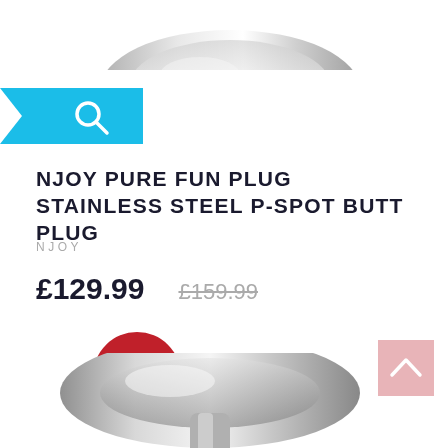[Figure (photo): Stainless steel plug product photo, top portion cropped at top of page]
[Figure (other): Blue search button with white magnifying glass icon and white left-pointing arrow on left edge]
NJOY PURE FUN PLUG STAINLESS STEEL P-SPOT BUTT PLUG
NJOY
£129.99  £159.99
[Figure (other): Red circular discount badge showing -23%]
[Figure (other): Pink back-to-top button with upward chevron arrow]
[Figure (photo): Stainless steel plug product photo, bottom portion cropped at bottom of page]